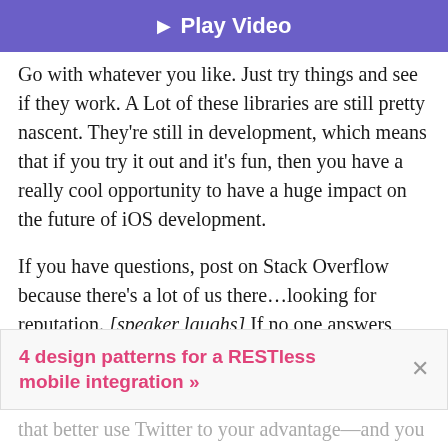[Figure (other): Purple play video button bar at top]
Go with whatever you like. Just try things and see if they work. A Lot of these libraries are still pretty nascent. They’re still in development, which means that if you try it out and it’s fun, then you have a really cool opportunity to have a huge impact on the future of iOS development.
If you have questions, post on Stack Overflow because there’s a lot of us there…looking for reputation. [speaker laughs] If no one answers your question on Stack Overflow, send me a tweet. I’d love
4 design patterns for a RESTless mobile integration »
that better use Twitter to your advantage—and you